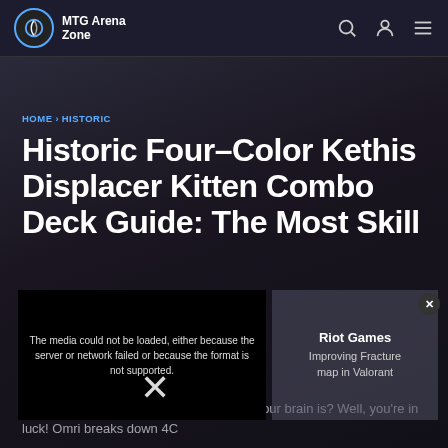MTG Arena Zone
HOME > HISTORIC
Historic Four-Color Kethis Displacer Kitten Combo Deck Guide: The Most Skill...
[Figure (screenshot): Video player error overlay: 'The media could not be loaded, either because the server or network failed or because the format is not supported.' with a dark thumbnail and an X close button.]
[Figure (screenshot): Riot Games advertisement panel showing 'Improving Fracture map in Valorant' text overlay on dark background with close button.]
Want to prove to the world how wrinkled your brain is? Well, you're in luck! Omri breaks down 4C